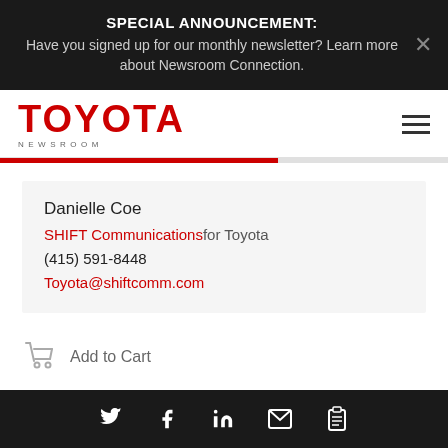SPECIAL ANNOUNCEMENT: Have you signed up for our monthly newsletter? Learn more about Newsroom Connection.
[Figure (logo): Toyota Newsroom logo in red with NEWSROOM text below]
Danielle Coe
SHIFT Communications for Toyota
(415) 591-8448
Toyota@shiftcomm.com
Add to Cart
Social share icons: Twitter, Facebook, LinkedIn, Email, Copy link